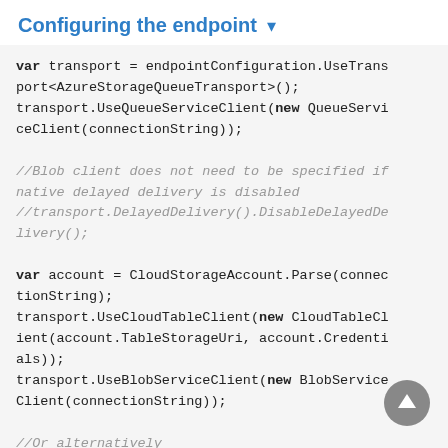Configuring the endpoint ▾
[Figure (screenshot): Code block showing C# transport configuration for Azure Storage Queue Transport, including UseQueueServiceClient, UseCloudTableClient, UseBlobServiceClient, and ConnectionString methods with comments about native delayed delivery.]